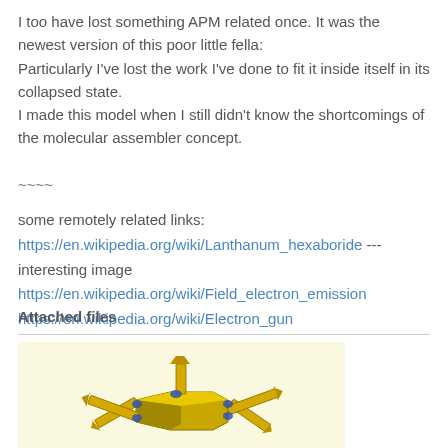I too have lost something APM related once. It was the newest version of this poor little fella:
Particularly I've lost the work I've done to fit it inside itself in its collapsed state.
I made this model when I still didn't know the shortcomings of the molecular assembler concept.
~~~~
some remotely related links:
https://en.wikipedia.org/wiki/Lanthanum_hexaboride --- interesting image
https://en.wikipedia.org/wiki/Field_electron_emission
https://en.wikipedia.org/wiki/Electron_gun
Attached files
[Figure (illustration): 3D render of a robotic/mechanical device with yellow/gold colored body and arms, blue joint connectors, on a light yellow background]